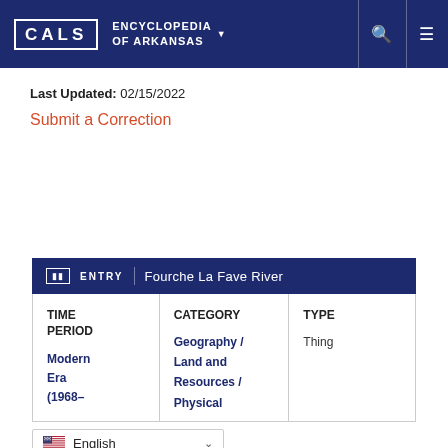CALS ENCYCLOPEDIA OF ARKANSAS
Last Updated: 02/15/2022
Submit a Correction
| TIME PERIOD | CATEGORY | TYPE |
| --- | --- | --- |
| Modern Era (1968– | Geography / Land and Resources / Physical | Thing |